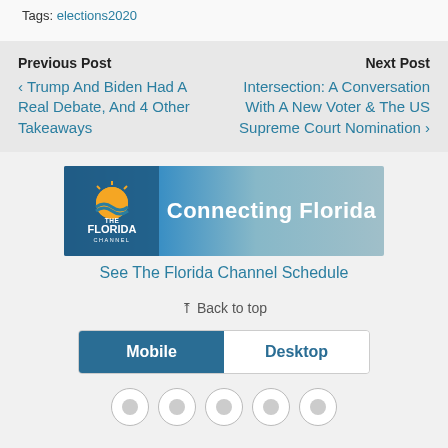Tags: elections2020
Previous Post
‹ Trump And Biden Had A Real Debate, And 4 Other Takeaways
Next Post
Intersection: A Conversation With A New Voter & The US Supreme Court Nomination ›
[Figure (logo): The Florida Channel banner logo with 'Connecting Florida' text]
See The Florida Channel Schedule
⇈ Back to top
Mobile   Desktop
[Figure (illustration): Row of social media icon circles partially visible at bottom]